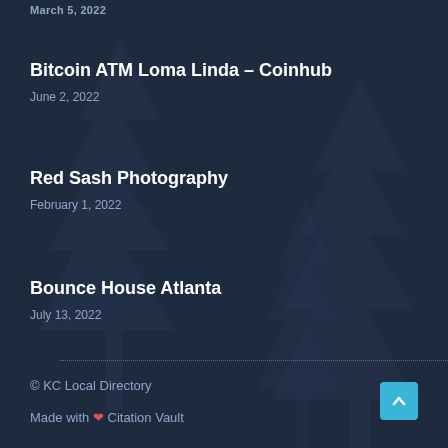March 5, 2022
Bitcoin ATM Loma Linda – Coinhub
June 2, 2022
Red Sash Photography
February 1, 2022
Bounce House Atlanta
July 13, 2022
© KC Local Directory
Made with ❤ Citation Vault